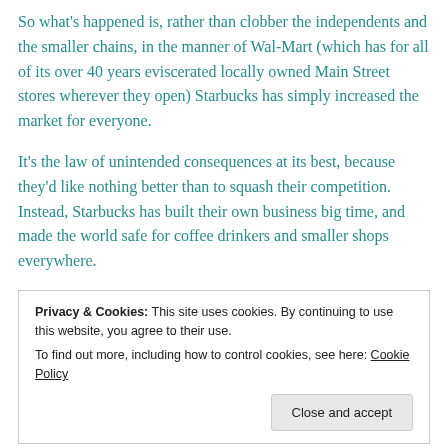So what's happened is, rather than clobber the independents and the smaller chains, in the manner of Wal-Mart (which has for all of its over 40 years eviscerated locally owned Main Street stores wherever they open) Starbucks has simply increased the market for everyone.
It's the law of unintended consequences at its best, because they'd like nothing better than to squash their competition. Instead, Starbucks has built their own business big time, and made the world safe for coffee drinkers and smaller shops everywhere.
Privacy & Cookies: This site uses cookies. By continuing to use this website, you agree to their use. To find out more, including how to control cookies, see here: Cookie Policy
Close and accept
Some caffeinated observations: